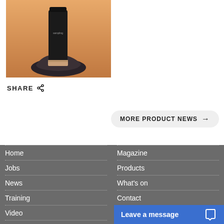[Figure (photo): Product photo: a black cosmetic/beauty tube standing on a dark rock with a copper/gold base, against a warm orange background]
SHARE
MORE PRODUCT NEWS →
Home
Jobs
News
Training
Video
myCareer
Magazine
Products
What's on
Contact
Post a job
Leave a message